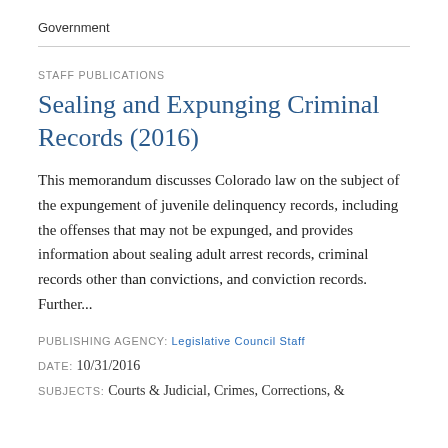Government
STAFF PUBLICATIONS
Sealing and Expunging Criminal Records (2016)
This memorandum discusses Colorado law on the subject of the expungement of juvenile delinquency records, including the offenses that may not be expunged, and provides information about sealing adult arrest records, criminal records other than convictions, and conviction records. Further...
PUBLISHING AGENCY: Legislative Council Staff
DATE: 10/31/2016
SUBJECTS: Courts & Judicial, Crimes, Corrections, &